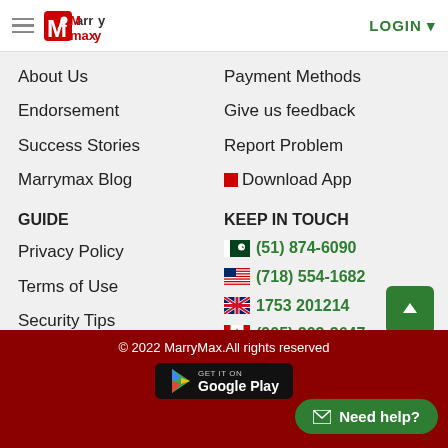MarryMax - hamburger menu and LOGIN
About Us
Payment Methods
Endorsement
Give us feedback
Success Stories
Report Problem
Marrymax Blog
Download App
GUIDE
KEEP IN TOUCH
Privacy Policy
(51) 874-6090
Terms of Use
(718) 554-1682
Security Tips
1753 201214
Report Concern
(905) 203-3647
Profile Guideline
Photo Guideline
[Figure (logo): Social media icons: Facebook, Twitter, LinkedIn, YouTube]
© 2022 MarryMax.All rights reserved
[Figure (illustration): Google Play download button]